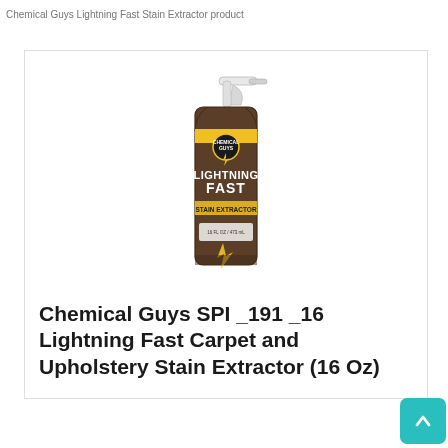Chemical Guys Lightning Fast Stain Extractor product page
[Figure (photo): Chemical Guys SPI_191_16 Lightning Fast Carpet and Upholstery Stain Extractor spray bottle (16 oz) with brown textured label and yellow lightning bolt design, white trigger sprayer]
Chemical Guys SPI_191_16 Lightning Fast Carpet and Upholstery Stain Extractor (16 Oz)